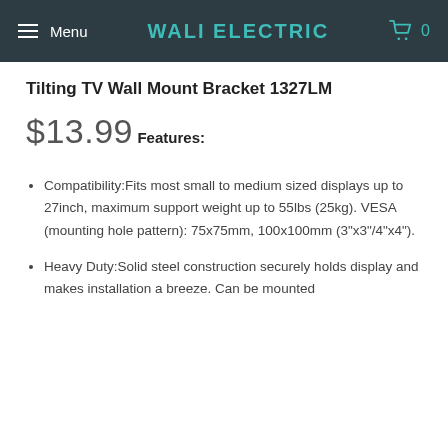Menu | WALI ELECTRIC | 0
Tilting TV Wall Mount Bracket 1327LM
$13.99
Features:
Compatibility:Fits most small to medium sized displays up to 27inch, maximum support weight up to 55lbs (25kg). VESA (mounting hole pattern): 75x75mm, 100x100mm (3"x3"/4"x4").
Heavy Duty:Solid steel construction securely holds display and makes installation a breeze. Can be mounted